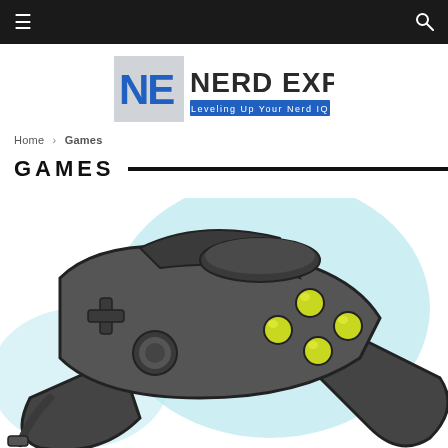Navigation bar with menu and search icons
[Figure (logo): Nerd Exp logo — NE monogram in blue/grey square with 'NERD EXP' text and tagline 'Leveling Up Your Nerd IQ']
Home > Games
GAMES
[Figure (illustration): Stylized cartoon illustration of a video game controller (dark grey/black) with yellow-green buttons and light blue glow outline, filling the lower portion of the page]